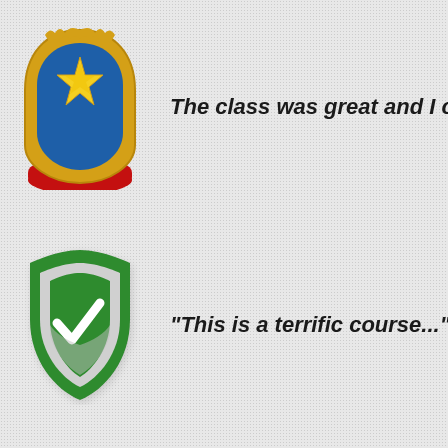[Figure (illustration): Gold and blue police/sheriff star badge with gold star in center on blue shield background with ornate gold border and red base]
The class was great and I ca...
[Figure (illustration): Green shield badge icon with a checkmark/tick inside]
"This is a terrific course..." -
[Figure (illustration): Orange outline shield badge with checkmark inside, white background]
"I was immediately impresse..."
Ludwig, Retired LE, Vice President of...
[Figure (illustration): Orange outline shield badge with checkmark, partially visible at bottom]
"Christine is a very honest p... truth in her investigations. S... respected..."